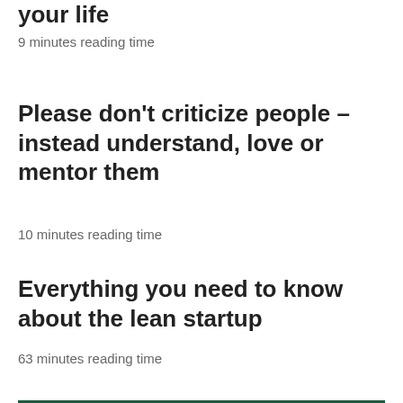your life
9 minutes reading time
Please don't criticize people – instead understand, love or mentor them
10 minutes reading time
Everything you need to know about the lean startup
63 minutes reading time